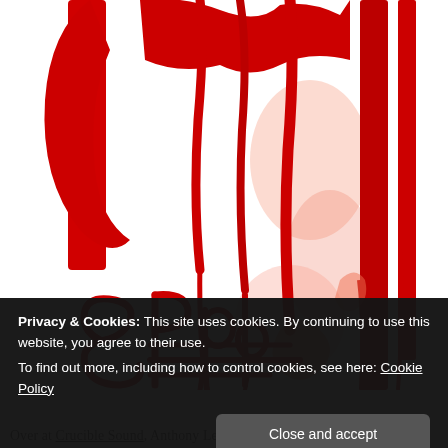[Figure (illustration): Abstract red brush-stroke artwork on white background resembling dripping graffiti-style lettering and figures in red ink/paint]
Privacy & Cookies: This site uses cookies. By continuing to use this website, you agree to their use.
To find out more, including how to control cookies, see here: Cookie Policy
[Close and accept]
Over at Crucible Sound, Anthony Levin-Decanini interviews